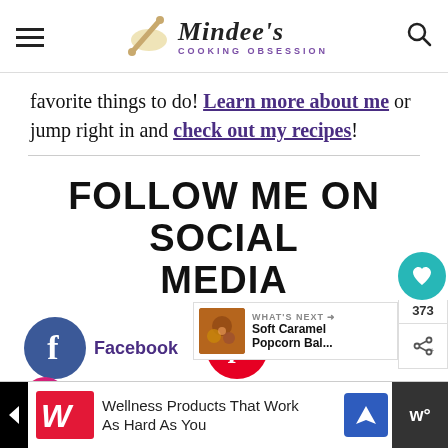Mindee's Cooking Obsession
favorite things to do! Learn more about me or jump right in and check out my recipes!
FOLLOW ME ON SOCIAL MEDIA
[Figure (other): Social media follow buttons: Facebook (blue circle with f) and Pinterest (red circle with p)]
[Figure (other): Floating share buttons: teal heart with 373 count, share icon; What's Next: Soft Caramel Popcorn Bal...]
[Figure (other): Advertisement bar: Walgreens - Wellness Products That Work As Hard As You]